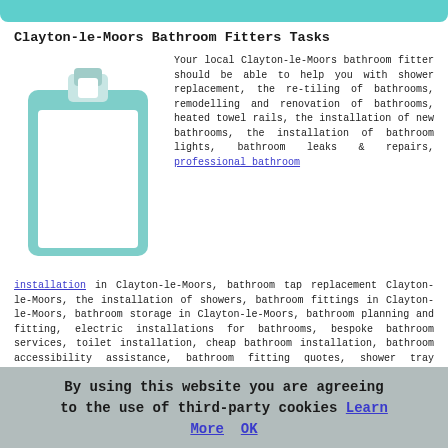Clayton-le-Moors Bathroom Fitters Tasks
[Figure (illustration): Clipboard icon with teal/mint color scheme, showing a clipboard with a white page and a clip at the top.]
Your local Clayton-le-Moors bathroom fitter should be able to help you with shower replacement, the re-tiling of bathrooms, remodelling and renovation of bathrooms, heated towel rails, the installation of new bathrooms, the installation of bathroom lights, bathroom leaks & repairs, professional bathroom installation in Clayton-le-Moors, bathroom tap replacement Clayton-le-Moors, the installation of showers, bathroom fittings in Clayton-le-Moors, bathroom storage in Clayton-le-Moors, bathroom planning and fitting, electric installations for bathrooms, bespoke bathroom services, toilet installation, cheap bathroom installation, bathroom accessibility assistance, bathroom fitting quotes, shower tray installations, bathroom wash basin installation, basin
By using this website you are agreeing to the use of third-party cookies Learn More OK